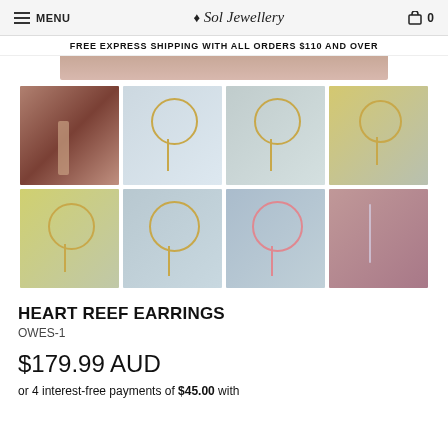MENU | Sol Jewellery | 🛒 0
FREE EXPRESS SHIPPING WITH ALL ORDERS $110 AND OVER
[Figure (photo): Partial cropped hero image showing a model wearing earrings, pinkish background]
[Figure (photo): Grid of 8 product thumbnail images showing Heart Reef Earrings in various settings — model wearing earrings, flat lays with gold hoop and tassel earrings on floral and fabric backgrounds]
HEART REEF EARRINGS
OWES-1
$179.99 AUD
or 4 interest-free payments of $45.00 with